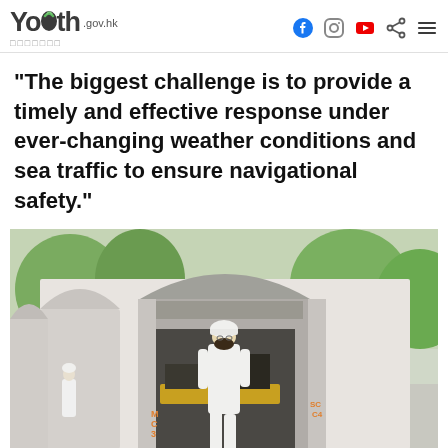youth.gov.hk — 青年發展委員會
"The biggest challenge is to provide a timely and effective response under ever-changing weather conditions and sea traffic to ensure navigational safety."
[Figure (photo): A person in a white uniform and white hard hat walking in front of a naval facility with large hangar-like structures and heavy machinery/equipment in the background.]